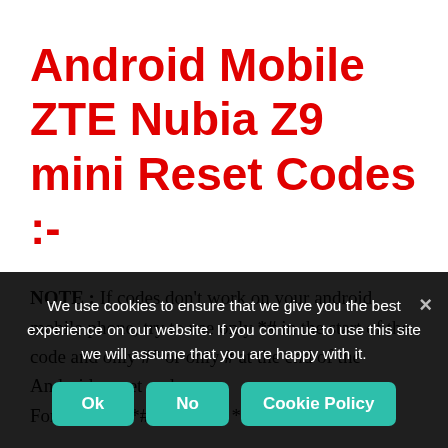Android Mobile ZTE Nubia Z9 mini Reset Codes :-
NOTE : If codes don't work on your android mobile phone, try to use only *# in the start of the code and only #* or only # at the end of the Android secret code. For example *#7780#* or *#7780#
We use cookies to ensure that we give you the best experience on our website. If you continue to use this site we will assume that you are happy with it.